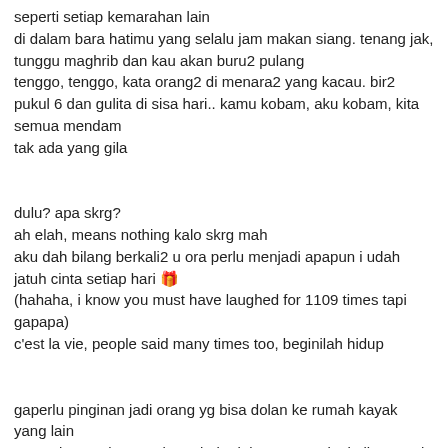seperti setiap kemarahan lain
di dalam bara hatimu yang selalu jam makan siang. tenang jak, tunggu maghrib dan kau akan buru2 pulang
tenggo, tenggo, kata orang2 di menara2 yang kacau. bir2 pukul 6 dan gulita di sisa hari.. kamu kobam, aku kobam, kita semua mendam
tak ada yang gila
dulu? apa skrg?
ah elah, means nothing kalo skrg mah
aku dah bilang berkali2 u ora perlu menjadi apapun i udah jatuh cinta setiap hari 🎉
(hahaha, i know you must have laughed for 1109 times tapi gapapa)
c'est la vie, people said many times too, beginilah hidup
gaperlu pinginan jadi orang yg bisa dolan ke rumah kayak yang lain
manusia membangun kota dari adab2 yang seringkali terantuk